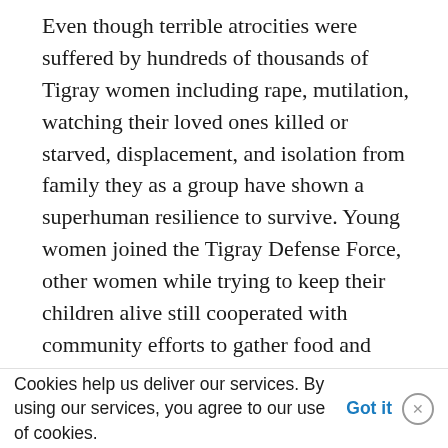Even though terrible atrocities were suffered by hundreds of thousands of Tigray women including rape, mutilation, watching their loved ones killed or starved, displacement, and isolation from family they as a group have shown a superhuman resilience to survive. Young women joined the Tigray Defense Force, other women while trying to keep their children alive still cooperated with community efforts to gather food and water. They willingly gave up their sons, brothers, husbands, fathers, and even grandfathers to join the armed struggle for freedom at their own personal peril.
Cookies help us deliver our services. By using our services, you agree to our use of cookies. Got it